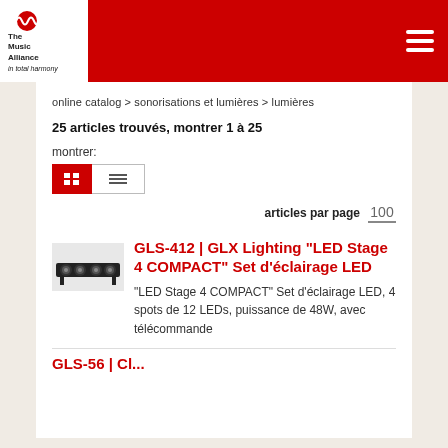The Music Alliance – in total harmony
online catalog > sonorisations et lumières > lumières
25 articles trouvés, montrer 1 à 25
montrer:
articles par page  100
GLS-412 | GLX Lighting "LED Stage 4 COMPACT" Set d'éclairage LED
"LED Stage 4 COMPACT" Set d'éclairage LED, 4 spots de 12 LEDs, puissance de 48W, avec télécommande